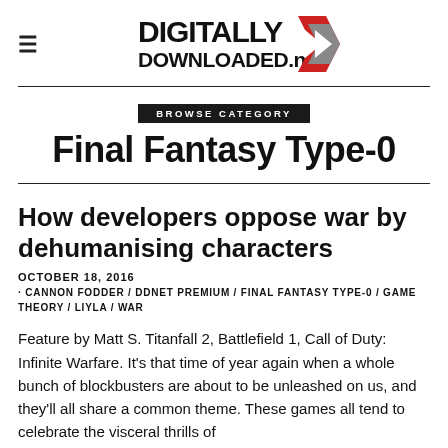DIGITALLY DOWNLOADED.net
BROWSE CATEGORY
Final Fantasy Type-0
How developers oppose war by dehumanising characters
OCTOBER 18, 2016
· CANNON FODDER / DDNET PREMIUM / FINAL FANTASY TYPE-0 / GAME THEORY / LIYLA / WAR
Feature by Matt S. Titanfall 2, Battlefield 1, Call of Duty: Infinite Warfare. It's that time of year again when a whole bunch of blockbusters are about to be unleashed on us, and they'll all share a common theme. These games all tend to celebrate the visceral thrills of